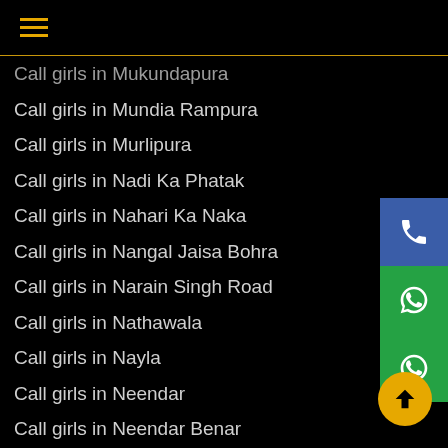≡
Call girls in Mukundapura
Call girls in Mundia Rampura
Call girls in Murlipura
Call girls in Nadi Ka Phatak
Call girls in Nahari Ka Naka
Call girls in Nangal Jaisa Bohra
Call girls in Narain Singh Road
Call girls in Nathawala
Call girls in Nayla
Call girls in Neendar
Call girls in Neendar Benar
Call girls in Nemi Sagar Colony
Call girls in New Atish Market
Call girls in New Sanganer Road
Call girls in Nirman Nagar
Call girls in Nityanand Colony
Call girls in Niwaroo
Call girls in Pachawala